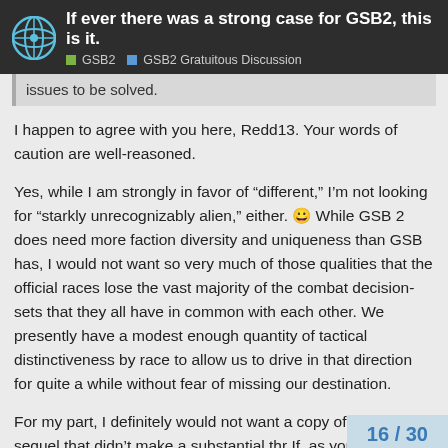If ever there was a strong case for GSB2, this is it. | GSB2 | GSB2 Gratuitous Discussion
issues to be solved.
I happen to agree with you here, Redd13. Your words of caution are well-reasoned.
Yes, while I am strongly in favor of “different,” I’m not looking for “starkly unrecognizably alien,” either. 😀 While GSB 2 does need more faction diversity and uniqueness than GSB has, I would not want so very much of those qualities that the official races lose the vast majority of the combat decision-sets that they all have in common with each other. We presently have a modest enough quantity of tactical distinctiveness by race to allow us to drive in that direction for quite a while without fear of missing our destination.
For my part, I definitely would not want a copy of a GSB sequel that didn’t make a substantial thr... If, as you stated, that explicitly means m...
16 / 30